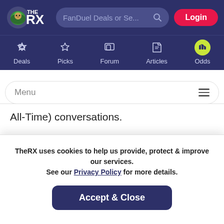[Figure (logo): TheRX website logo — lion head icon with THE RX text in white on dark blue background]
[Figure (screenshot): Website navigation header with search bar 'FanDuel Deals or Se...' and Login button, nav icons for Deals, Picks, Forum, Articles, Odds]
Menu
All-Time) conversations.
Megan Anderson is the former Invicta featherweight champion and relinquished her championship to tackle
TheRX uses cookies to help us provide, protect & improve our services. See our Privacy Policy for more details.
Accept & Close